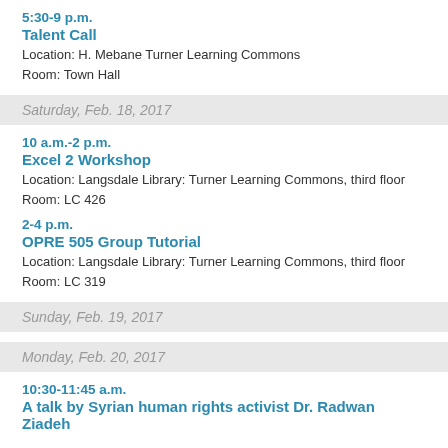5:30-9 p.m.
Talent Call
Location: H. Mebane Turner Learning Commons
Room: Town Hall
Saturday, Feb. 18, 2017
10 a.m.-2 p.m.
Excel 2 Workshop
Location: Langsdale Library: Turner Learning Commons, third floor
Room: LC 426
2-4 p.m.
OPRE 505 Group Tutorial
Location: Langsdale Library: Turner Learning Commons, third floor
Room: LC 319
Sunday, Feb. 19, 2017
Monday, Feb. 20, 2017
10:30-11:45 a.m.
A talk by Syrian human rights activist Dr. Radwan Ziadeh